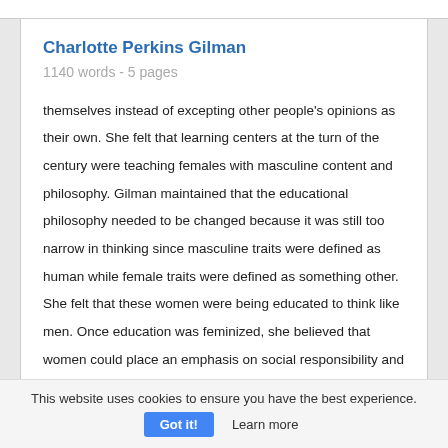Charlotte Perkins Gilman
1140 words - 5 pages
themselves instead of excepting other people's opinions as their own. She felt that learning centers at the turn of the century were teaching females with masculine content and philosophy. Gilman maintained that the educational philosophy needed to be changed because it was still too narrow in thinking since masculine traits were defined as human while female traits were defined as something other. She felt that these women were being educated to think like men. Once education was feminized, she believed that women could place an emphasis on social responsibility and specialized knowledge, which would develop them to
This website uses cookies to ensure you have the best experience.
Got it!  Learn more